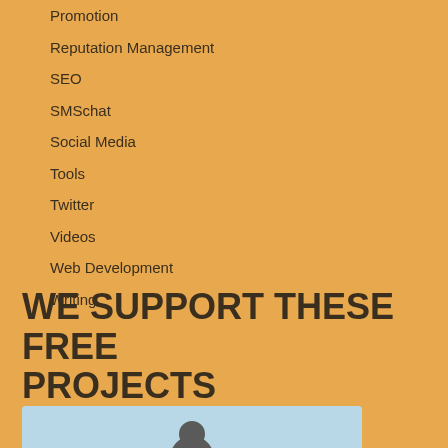Promotion
Reputation Management
SEO
SMSchat
Social Media
Tools
Twitter
Videos
Web Development
Writing
WE SUPPORT THESE FREE PROJECTS
[Figure (photo): Partial view of a person's silhouette at the bottom of the page, light blue background strip]